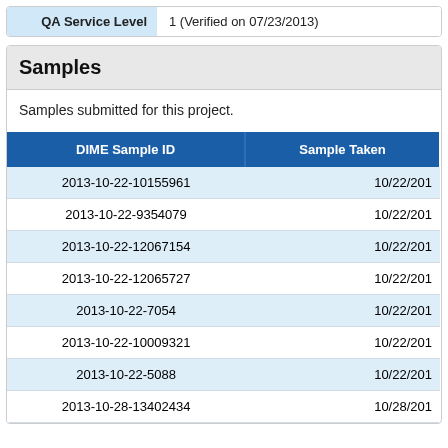| QA Service Level |  |
| --- | --- |
| QA Service Level | 1 (Verified on 07/23/2013) |
Samples
Samples submitted for this project.
| DIME Sample ID | Sample Taken |
| --- | --- |
| 2013-10-22-10155961 | 10/22/201 |
| 2013-10-22-9354079 | 10/22/201 |
| 2013-10-22-12067154 | 10/22/201 |
| 2013-10-22-12065727 | 10/22/201 |
| 2013-10-22-7054 | 10/22/201 |
| 2013-10-22-10009321 | 10/22/201 |
| 2013-10-22-5088 | 10/22/201 |
| 2013-10-28-13402434 | 10/28/201 |